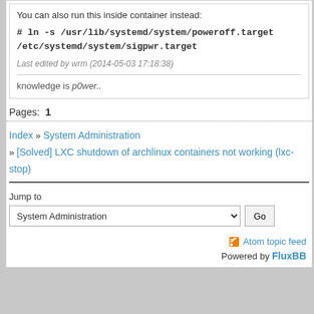You can also run this inside container instead:
# ln -s /usr/lib/systemd/system/poweroff.target /etc/systemd/system/sigpwr.target
Last edited by wrm (2014-05-03 17:18:38)
knowledge is p0wer..
Pages:  1
Index » System Administration » [Solved] LXC shutdown of archlinux containers not working (lxc-stop)
Jump to
System Administration
Atom topic feed
Powered by FluxBB